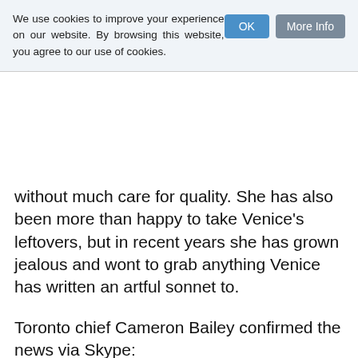We use cookies to improve your experience on our website. By browsing this website, you agree to our use of cookies.
without much care for quality. She has also been more than happy to take Venice's leftovers, but in recent years she has grown jealous and wont to grab anything Venice has written an artful sonnet to.
Toronto chief Cameron Bailey confirmed the news via Skype:
We got together early in the summer to see if we could organize things so we wouldn't overlap so much. We had some wine. Then some grappa, and one thing led to another. Why always be fighting and grappling? There's room enough for